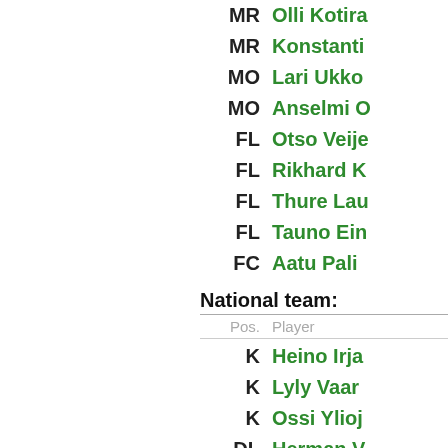MR  Olli Kotira...
MR  Konstanti...
MO  Lari Ukko...
MO  Anselmi O...
FL  Otso Veije...
FL  Rikhard K...
FL  Thure Lau...
FL  Tauno Ein...
FC  Aatu Pali...
National team:
Pos.  Player
K  Heino Irja...
K  Lyly Vaar...
K  Ossi Ylioj...
DL  Herman V...
DR  Kullervo ...
DC  Jooseppi...
DC  Eino Hah...